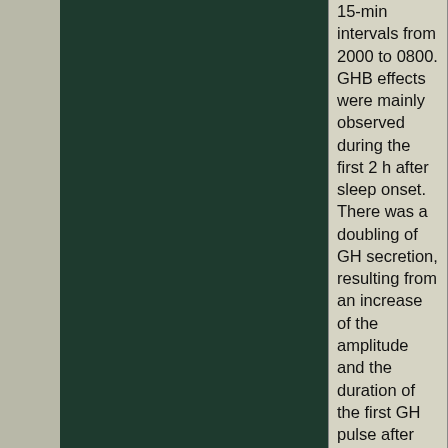[Figure (other): Dark green/teal rectangular panel, likely a figure or image placeholder occupying the left-center portion of the page.]
15-min intervals from 2000 to 0800. GHB effects were mainly observed during the first 2 h after sleep onset. There was a doubling of GH secretion, resulting from an increase of the amplitude and the duration of the first GH pulse after sleep onset. This stimulation of GH secretion was significantly correlated to a simultaneous increase in the amount of sleep stage IV. Abrupt but transient elevations of prolactin and cortisol were also observed, but did not appear to be